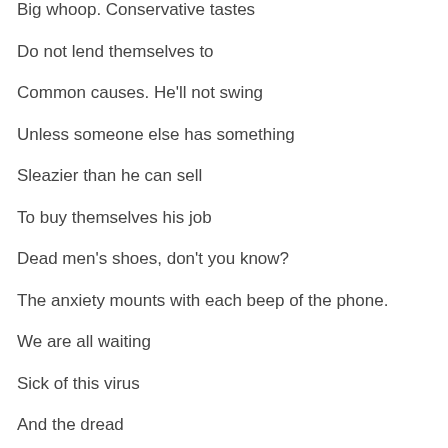Big whoop. Conservative tastes
Do not lend themselves to
Common causes. He'll not swing
Unless someone else has something
Sleazier than he can sell
To buy themselves his job
Dead men's shoes, don't you know?
The anxiety mounts with each beep of the phone.
We are all waiting
Sick of this virus
And the dread